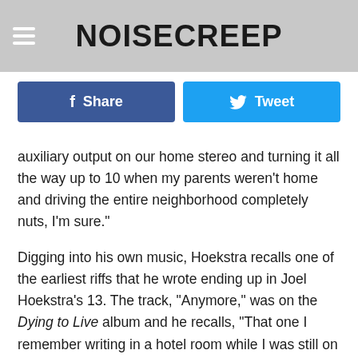NOISECREEP
Share   Tweet
auxiliary output on our home stereo and turning it all the way up to 10 when my parents weren't home and driving the entire neighborhood completely nuts, I'm sure."
Digging into his own music, Hoekstra recalls one of the earliest riffs that he wrote ending up in Joel Hoekstra's 13. The track, "Anymore," was on the Dying to Live album and he recalls, "That one I remember writing in a hotel room while I was still on tour with Night Ranger. I kept thinking, 'Come on, straight ahead rock,' and that's what all these Joel Hoekstra's 13 albums are all about. It's kind of melodic hard rock that is kind of Dio-ish at its heaviest from my roots and Foreigner-